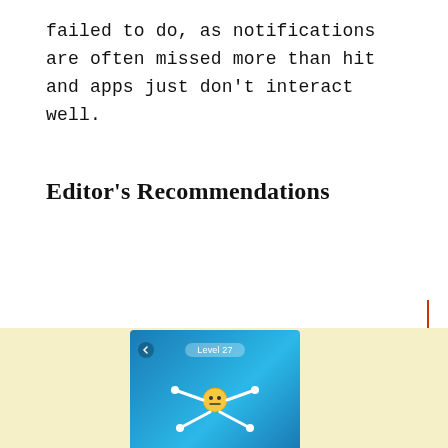failed to do, as notifications are often missed more than hit and apps just don't interact well.
Editor's Recommendations
[Figure (screenshot): App screenshot showing a game at Level 27 with a stick figure character on a blue background]
[Figure (screenshot): App icon showing a surprised yellow emoji face on a teal/cyan background]